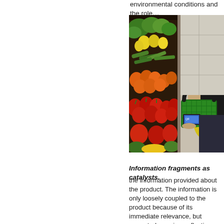environmental conditions and the role…
[Figure (photo): Person holding a green shopping basket and scanning a product with a smartphone in a grocery store produce section with colorful vegetables (peppers, cucumbers, tomatoes) in the background.]
Information fragments as catalysts.
the information provided about the product. The information is only loosely coupled to the product because of its immediate relevance, but prompted surprise, reflection, and the challenging of irrelevant nonsense that they could not ignore. The information spoke to their previous experience or challenging. For instance, two participants saw a mango, having read about laws restricting where it was from, saying that "this is the kind…